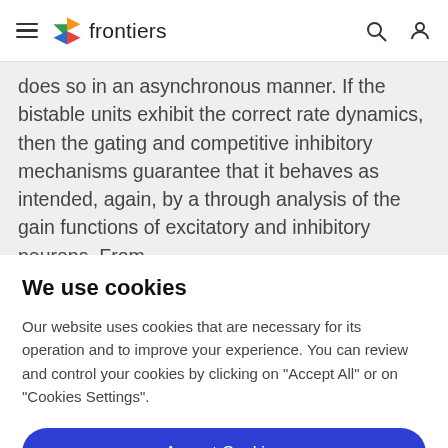frontiers
does so in an asynchronous manner. If the bistable units exhibit the correct rate dynamics, then the gating and competitive inhibitory mechanisms guarantee that it behaves as intended, again, by a through analysis of the gain functions of excitatory and inhibitory neurons. From
We use cookies
Our website uses cookies that are necessary for its operation and to improve your experience. You can review and control your cookies by clicking on "Accept All" or on "Cookies Settings".
Accept Cookies
Cookies Settings